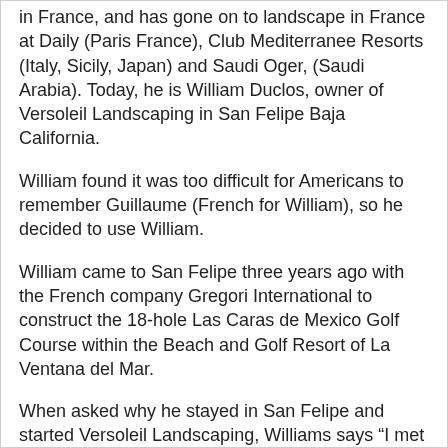in France, and has gone on to landscape in France at Daily (Paris France), Club Mediterranee Resorts (Italy, Sicily, Japan) and Saudi Oger, (Saudi Arabia). Today, he is William Duclos, owner of Versoleil Landscaping in San Felipe Baja California.
William found it was too difficult for Americans to remember Guillaume (French for William), so he decided to use William.
William came to San Felipe three years ago with the French company Gregori International to construct the 18-hole Las Caras de Mexico Golf Course within the Beach and Golf Resort of La Ventana del Mar.
When asked why he stayed in San Felipe and started Versoleil Landscaping, Williams says “I met my Mexican wife Xochilt here in San Felipe… and I saw a good opportunity to start a landscaping company here, because of all of the new developments.”
Versoleil Landscaping offers everything from landscaping design to green decorations for special events, with